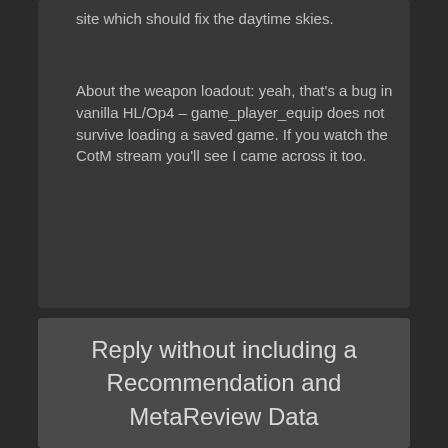site which should fix the daytime skies.
About the weapon loadout: yeah, that's a bug in vanilla HL/Op4 – game_player_equip does not survive loading a saved game. If you watch the CotM stream you'll see I came across it too.
Reply without including a Recommendation and MetaReview Data